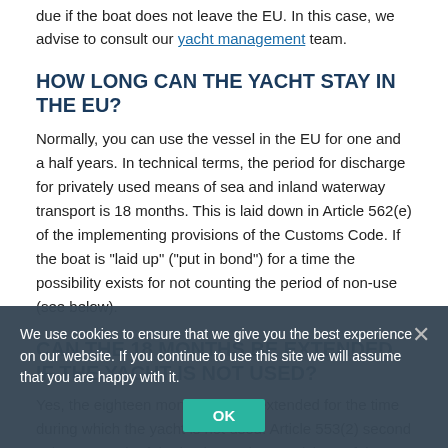due if the boat does not leave the EU. In this case, we advise to consult our yacht management team.
HOW LONG CAN THE YACHT STAY IN THE EU?
Normally, you can use the vessel in the EU for one and a half years. In technical terms, the period for discharge for privately used means of sea and inland waterway transport is 18 months. This is laid down in Article 562(e) of the implementing provisions of the Customs Code. If the boat is "laid up" ("put in bond") for a time the possibility exists for not counting the period of non-use (see below).
CAN THE 18 MONTHS BE EXTENDED IF THE YACHT IS NOT USED?
Yes, the eighteen months can be extended for the time during which the yacht is not used. Article 553(2) second sub-paragraph of the implementing provisions of the Customs Code